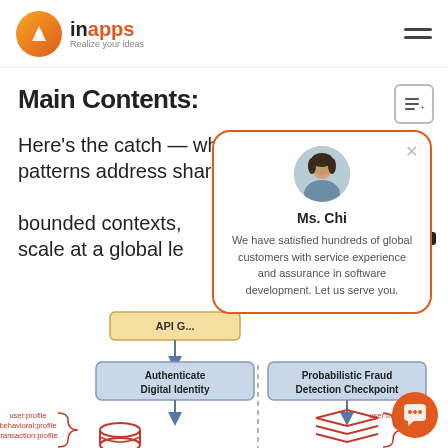inapps — Realize your ideas
Main Contents:
Here's the catch — while these patterns address shared da... bounded contexts, ... scale at a global le...
[Figure (infographic): Popup card with avatar photo of Ms. Chi, name label, and description text: We have satisfied hundreds of global customers with service experience and assurance in software development. Let us serve you.]
[Figure (flowchart): Architecture diagram showing API Gateway, Authenticate Digital Identity box, Probabilistic Fraud Detection Checkpoint box, user:profile/behavioral:profile/transaction:profile/geolocation/trusted:devices labels, Redis Enterprise label, user:transactions label, database and stack icons.]